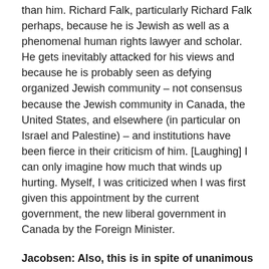than him. Richard Falk, particularly Richard Falk perhaps, because he is Jewish as well as a phenomenal human rights lawyer and scholar. He gets inevitably attacked for his views and because he is probably seen as defying organized Jewish community – not consensus because the Jewish community in Canada, the United States, and elsewhere (in particular on Israel and Palestine) – and institutions have been fierce in their criticism of him. [Laughing] I can only imagine how much that winds up hurting. Myself, I was criticized when I was first given this appointment by the current government, the new liberal government in Canada by the Foreign Minister.
Jacobsen: Also, this is in spite of unanimous voting from the United Nations Human Rights Council.
Lynk: Look, I wouldn't have taken this position without